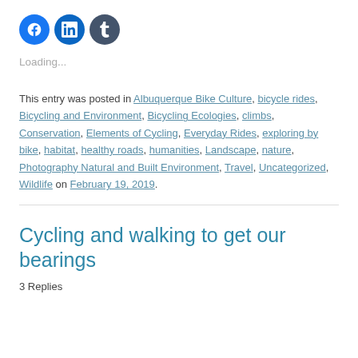[Figure (other): Three social media icon buttons: Facebook (blue circle with f), LinkedIn (blue circle with in), Tumblr (dark circle with t)]
Loading...
This entry was posted in Albuquerque Bike Culture, bicycle rides, Bicycling and Environment, Bicycling Ecologies, climbs, Conservation, Elements of Cycling, Everyday Rides, exploring by bike, habitat, healthy roads, humanities, Landscape, nature, Photography Natural and Built Environment, Travel, Uncategorized, Wildlife on February 19, 2019.
Cycling and walking to get our bearings
3 Replies